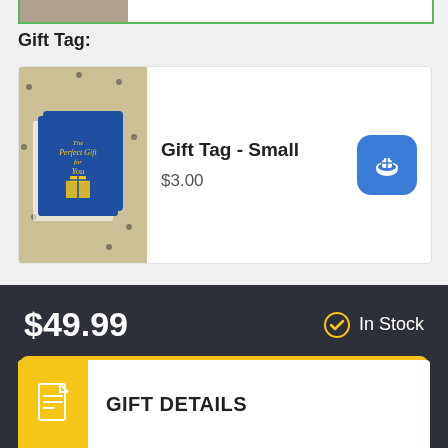[Figure (photo): Partial product card at top, cropped, with a small product image visible]
Gift Tag:
[Figure (photo): Gift Tag - Small product card showing a blue gift tag card with yellow text on decorative background. Price $3.00 with blue add button.]
$49.99
In Stock
Add to cart
GIFT DETAILS